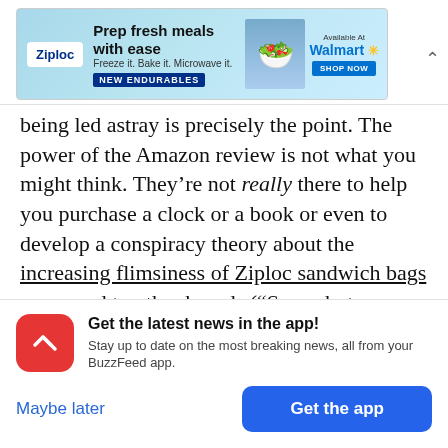[Figure (screenshot): Ziploc advertisement banner: 'Prep fresh meals with ease. Freeze it. Bake it. Microwave it. NEW ENDURABLES. Available at Walmart. SHOP NOW.']
being led astray is precisely the point. The power of the Amazon review is not what you might think. They’re not really there to help you purchase a clock or a book or even to develop a conspiracy theory about the increasing flimsiness of Ziploc sandwich bags compared to other brands (“Sorry, but you didn’t fool this lunch-making mom!”). I mean, they are there to help you purchase things,
[Figure (infographic): BuzzFeed app notification prompt: red icon with white arrow, 'Get the latest news in the app! Stay up to date on the most breaking news, all from your BuzzFeed app.' with 'Maybe later' and 'Get the app' buttons.]